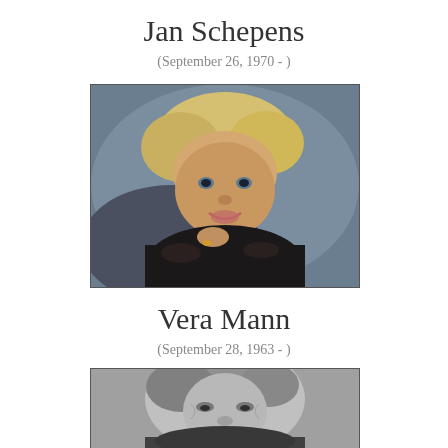Jan Schepens
(September 26, 1970 - )
[Figure (photo): Portrait photo of Jan Schepens, a smiling blonde woman with short hair, wearing a dark fur coat, resting her chin on her hand, with a ring visible.]
Vera Mann
(September 28, 1963 - )
[Figure (photo): Black and white portrait photo of Vera Mann, an older woman with curly gray hair, looking slightly downward.]